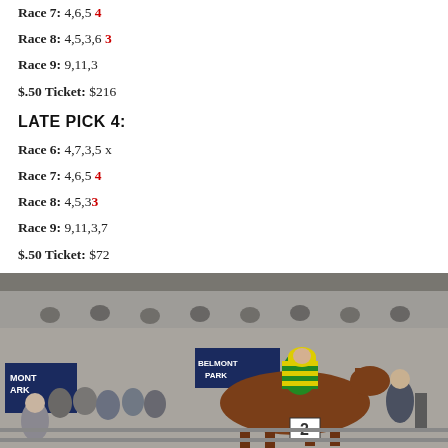Race 7:  4,6,5 4
Race 8:  4,5,3,6 3
Race 9:  9,11,3
$.50 Ticket:  $216
LATE PICK 4:
Race 6:  4,7,3,5 x
Race 7:  4,6,5 4
Race 8:  4,5,3 3
Race 9:  9,11,3,7
$.50 Ticket:  $72
[Figure (photo): Horse racing winner's circle photo at Belmont Park showing a jockey in green and yellow striped silks sitting on a chestnut horse, surrounded by handlers and spectators, with Belmont Park signage visible in the background.]